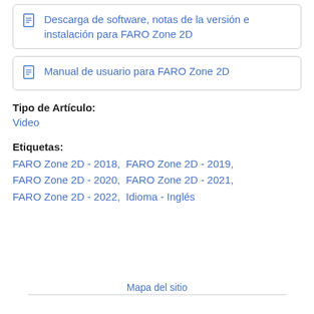Descarga de software, notas de la versión e instalación para FARO Zone 2D
Manual de usuario para FARO Zone 2D
Tipo de Artículo:
Video
Etiquetas:
FARO Zone 2D - 2018, FARO Zone 2D - 2019, FARO Zone 2D - 2020, FARO Zone 2D - 2021, FARO Zone 2D - 2022, Idioma - Inglés
Mapa del sitio